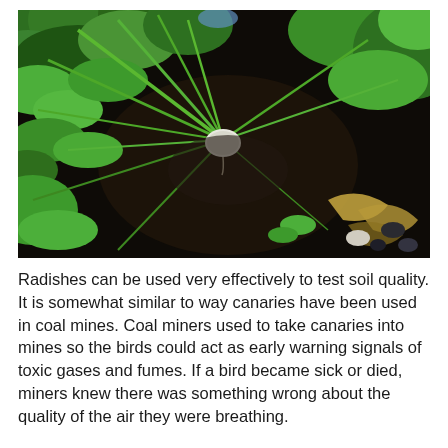[Figure (photo): Close-up photograph of a small white radish bulb growing in dark soil, surrounded by green leafy plants and stems. There are fallen leaves and small stones visible. The image is taken from above looking down at the plant.]
Radishes can be used very effectively to test soil quality. It is somewhat similar to way canaries have been used in coal mines. Coal miners used to take canaries into mines so the birds could act as early warning signals of toxic gases and fumes. If a bird became sick or died, miners knew there was something wrong about the quality of the air they were breathing.